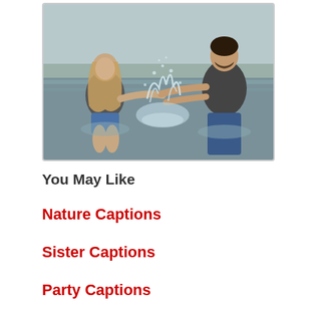[Figure (photo): A young woman and a man playing in water, splashing each other, standing in a shallow river or lake outdoors.]
You May Like
Nature Captions
Sister Captions
Party Captions